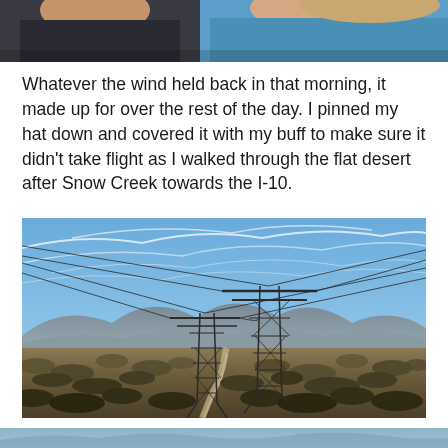[Figure (photo): Top portion of a photo showing two people wearing outdoor gear, one in a dark jacket and one in a blue jacket, cropped to show only the upper portion]
Whatever the wind held back in that morning, it made up for over the rest of the day. I pinned my hat down and covered it with my buff to make sure it didn't take flight as I walked through the flat desert after Snow Creek towards the I-10.
[Figure (photo): Desert landscape photograph showing two large electrical transmission towers/pylons in a flat desert scrubland, with mountains in the background and a partly cloudy blue sky with wispy clouds. A dirt trail is visible in the foreground among dry desert brush.]
[Figure (photo): Bottom edge of another photo, partially visible, showing what appears to be a mountain or desert landscape]